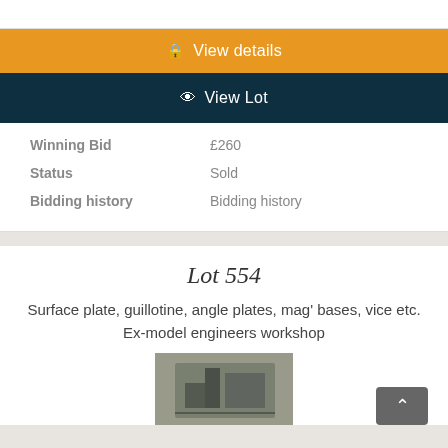[Figure (other): Orange button labeled 'View details' with lock icon]
[Figure (other): Dark navy button labeled 'View Lot' with eye icon]
| Winning Bid | £260 |
| Status | Sold |
| Bidding history | Bidding history |
Lot 554
Surface plate, guillotine, angle plates, mag' bases, vice etc.
Ex-model engineers workshop
[Figure (photo): Photo of workshop tools/equipment, partially visible at bottom of page]